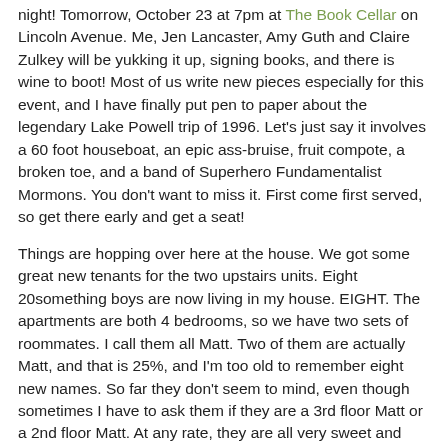night!  Tomorrow, October 23 at 7pm at The Book Cellar on Lincoln Avenue.  Me, Jen Lancaster, Amy Guth and Claire Zulkey will be yukking it up, signing books, and there is wine to boot!  Most of us write new pieces especially for this event, and I have finally put pen to paper about the legendary Lake Powell trip of 1996.  Let's just say it involves a 60 foot houseboat, an epic ass-bruise, fruit compote, a broken toe, and a band of Superhero Fundamentalist Mormons.  You don't want to miss it.  First come first served, so get there early and get a seat!
Things are hopping over here at the house.  We got some great new tenants for the two upstairs units.  Eight 20something boys are now living in my house.  EIGHT.  The apartments are both 4 bedrooms, so we have two sets of roommates.  I call them all Matt.  Two of them are actually Matt, and that is 25%, and I'm too old to remember eight new names.  So far they don't seem to mind, even though sometimes I have to ask them if they are a 3rd floor Matt or a 2nd floor Matt.  At any rate, they are all very sweet and seem to be settling in happily.